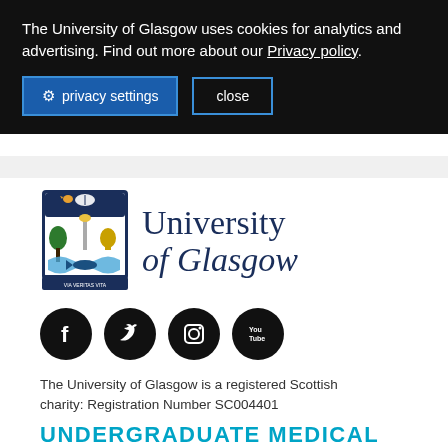The University of Glasgow uses cookies for analytics and advertising. Find out more about our Privacy policy.
privacy settings   close
[Figure (logo): University of Glasgow crest and name logo]
[Figure (infographic): Social media icons: Facebook, Twitter, Instagram, YouTube]
The University of Glasgow is a registered Scottish charity: Registration Number SC004401
UNDERGRADUATE MEDICAL